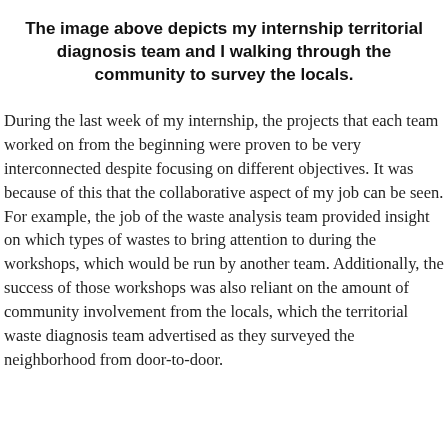The image above depicts my internship territorial diagnosis team and I walking through the community to survey the locals.
During the last week of my internship, the projects that each team worked on from the beginning were proven to be very interconnected despite focusing on different objectives. It was because of this that the collaborative aspect of my job can be seen. For example, the job of the waste analysis team provided insight on which types of wastes to bring attention to during the workshops, which would be run by another team. Additionally, the success of those workshops was also reliant on the amount of community involvement from the locals, which the territorial waste diagnosis team advertised as they surveyed the neighborhood from door-to-door.